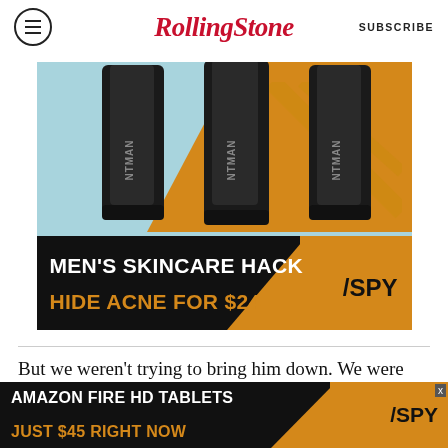RollingStone | SUBSCRIBE
[Figure (photo): Advertisement: Men's skincare hack - Hide acne for $24, SPY brand, showing three dark cylindrical product bottles on blue and gold background]
But we weren't trying to bring him down. We were trying to look him in the eye. I didn't want to humiliate him. I don't think there has ever been, or will ever be, another movie about an icon that's this raw or intimate. Someone involved with the estate's management saw the film and said to me
[Figure (photo): Advertisement: Amazon Fire HD Tablets - Just $45 Right Now, SPY brand, on dark background with gold text]